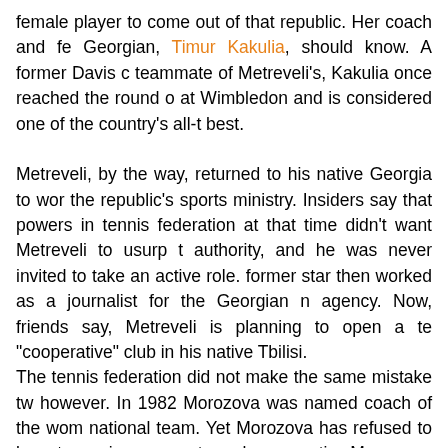female player to come out of that republic. Her coach and fe Georgian, Timur Kakulia, should know. A former Davis c teammate of Metreveli's, Kakulia once reached the round o at Wimbledon and is considered one of the country's all-t best.

Metreveli, by the way, returned to his native Georgia to wor the republic's sports ministry. Insiders say that powers in tennis federation at that time didn't want Metreveli to usurp t authority, and he was never invited to take an active role. former star then worked as a journalist for the Georgian n agency. Now, friends say, Metreveli is planning to open a te "cooperative" club in his native Tbilisi.
The tennis federation did not make the same mistake tw however. In 1982 Morozova was named coach of the wom national team. Yet Morozova has refused to bow to se images; extremely energetic, Morozova, 39, is the Soviet with the international world.
"Because I have a name and success in the past, sometime